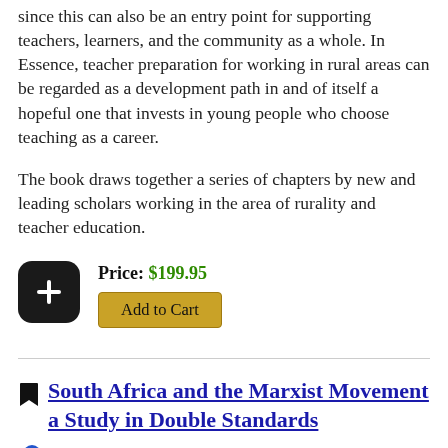since this can also be an entry point for supporting teachers, learners, and the community as a whole. In Essence, teacher preparation for working in rural areas can be regarded as a development path in and of itself a hopeful one that invests in young people who choose teaching as a career.
The book draws together a series of chapters by new and leading scholars working in the area of rurality and teacher education.
Price: $199.95
Add to Cart
South Africa and the Marxist Movement a Study in Double Standards
Bardis, Panos D.